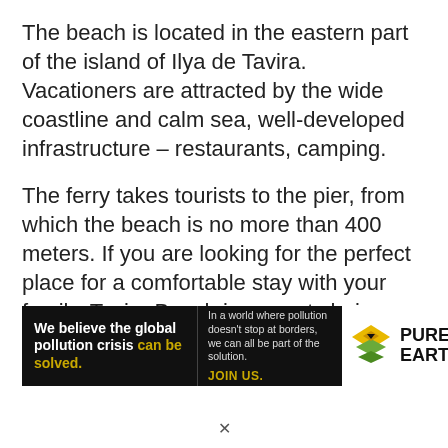The beach is located in the eastern part of the island of Ilya de Tavira. Vacationers are attracted by the wide coastline and calm sea, well-developed infrastructure – restaurants, camping.
The ferry takes tourists to the pier, from which the beach is no more than 400 meters. If you are looking for the perfect place for a comfortable stay with your family, Tavira Beach is a great choice. Golden, fine sand stretches for 7 km, just
[Figure (infographic): Advertisement banner for Pure Earth organization. Left dark section: 'We believe the global pollution crisis can be solved.' (can be solved in yellow). Middle dark section: 'In a world where pollution doesn't stop at borders, we can all be part of the solution.' and 'JOIN US.' in yellow. Right white section: Pure Earth logo (diamond shape with arrow/chevron pattern in yellow/green) and text 'PURE EARTH' in bold.]